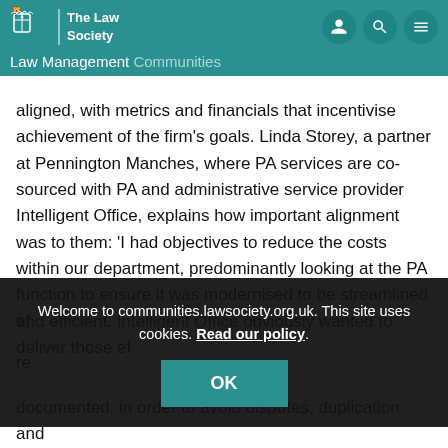The Law Society — Law Management Communities
aligned, with metrics and financials that incentivise achievement of the firm's goals. Linda Storey, a partner at Pennington Manches, where PA services are co-sourced with PA and administrative service provider Intelligent Office, explains how important alignment was to them: 'I had objectives to reduce the costs within our department, predominantly looking at the PA function to ensure it was modernised to be streamlined and efficient. Intelligent Office obviously wanted to deliver those ef… re…
Welcome to communities.lawsociety.org.uk. This site uses cookies. Read our policy.
Th… in… documented, in order to avoid disputes, duplication and important outputs falling between stools.